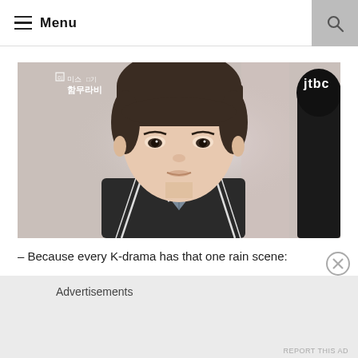Menu
[Figure (photo): Screenshot from Korean drama (JTBC) showing a young male actor in school uniform (black cardigan with white trim, white dress shirt, striped tie) looking directly at camera with neutral expression. Korean text overlay reads '미스 함무라비' (Miss Hammurabi). JTBC logo visible top right. Another person's silhouette partially visible on right edge. Soft pinkish-white background.]
– Because every K-drama has that one rain scene:
Advertisements